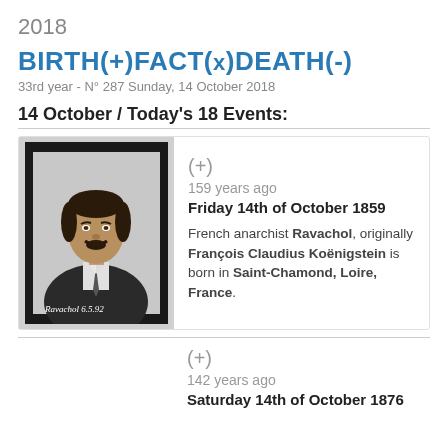2018
BIRTH(+)FACT(x)DEATH(-)
33rd year - N° 287 Sunday, 14 October 2018
14 October / Today's 18 Events:
[Figure (photo): Black and white portrait photograph of Ravachol, a man with dark hair and a mustache, wearing a dark jacket. Handwritten caption at bottom reads 'Ravachol 6.5.92'.]
(+)
159 years ago
Friday 14th of October 1859

French anarchist Ravachol, originally François Claudius Koënigstein is born in Saint-Chamond, Loire, France.
(+)
142 years ago
Saturday 14th of October 1876